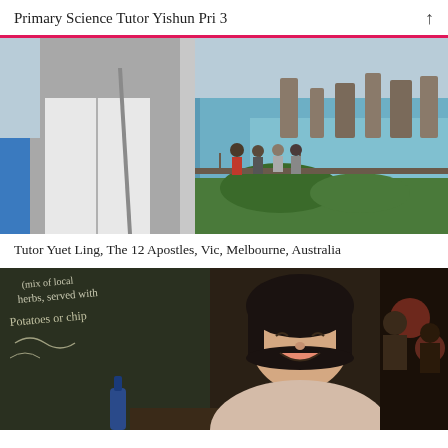Primary Science Tutor Yishun Pri 3
[Figure (photo): A person in a grey zip-up hoodie with a crossbody bag standing in front of a coastal scenic overlook. In the background, the 12 Apostles rock formations are visible along a blue-green ocean with people gathered at a railing viewing area.]
Tutor Yuet Ling, The 12 Apostles, Vic, Melbourne, Australia
[Figure (photo): A smiling Asian woman with a short bob hairstyle wearing a light-coloured sweater, seated in a restaurant. Behind her is a chalkboard menu listing herbs, served with potatoes or chips. The background shows a busy restaurant scene with warm lighting.]